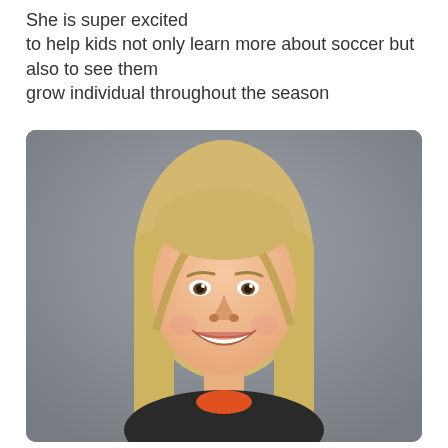She is super excited to help kids not only learn more about soccer but also to see them grow individual throughout the season
[Figure (photo): Headshot photo of a young woman with long blonde hair, smiling broadly, wearing a dark top with orange collar, against a gray background.]